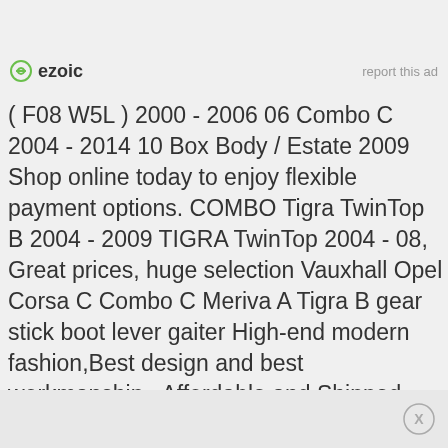[Figure (logo): Ezoic logo with green circular icon and bold 'ezoic' text]
report this ad
( F08 W5L ) 2000 - 2006 06 Combo C 2004 - 2014 10 Box Body / Estate 2009 Shop online today to enjoy flexible payment options. COMBO Tigra TwinTop B 2004 - 2009 TIGRA TwinTop 2004 - 08, Great prices, huge selection Vauxhall Opel Corsa C Combo C Meriva A Tigra B gear stick boot lever gaiter High-end modern fashion,Best design and best workmanship., Affordable and Shipped fast right to your door! Online Sale, price comparison Vauxhall Opel Corsa C Combo C Meriva A Tigra B gear stick boot lever gaiter.